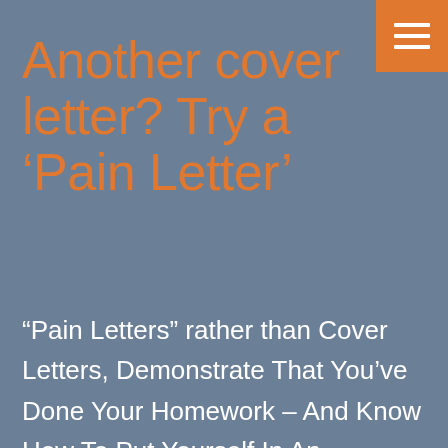[Figure (other): Orange hamburger menu button in top-right corner with three horizontal white lines]
Another cover letter? Try a ‘Pain Letter’
“Pain Letters” rather than Cover Letters, Demonstrate That You’ve Done Your Homework – And Know How To Put Yourself In An Employer’s Shoes. Conjuring up a fresh, eye-catching, perfectly phrased cover letter feels like an exercise in futility after your fourth